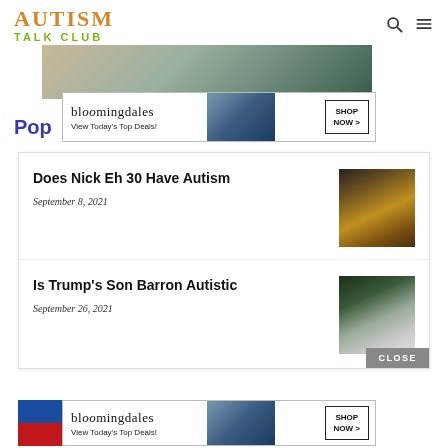AUTISM TALK CLUB
[Figure (photo): Partial hero image showing people at top of page]
[Figure (infographic): Bloomingdale's advertisement banner: 'bloomingdales View Today's Top Deals!' with SHOP NOW > button and woman in hat image]
Pop
Does Nick Eh 30 Have Autism
September 8, 2021
[Figure (photo): Thumbnail photo of a woman in a yellow outfit holding a microphone]
Is Trump's Son Barron Autistic
September 26, 2021
[Figure (photo): Thumbnail photo of a family group in formal attire]
[Figure (infographic): CLOSE button overlay]
[Figure (infographic): Bloomingdale's bottom advertisement banner: 'bloomingdales View Today's Top Deals!' with SHOP NOW > button and woman in hat image]